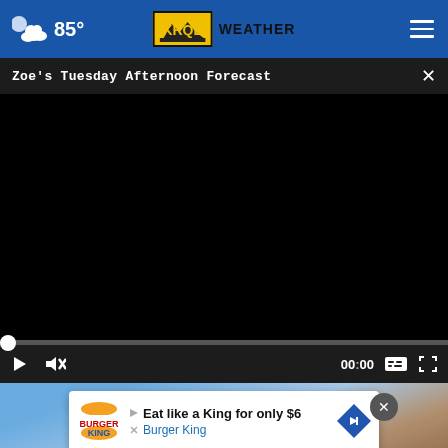85° KRQE WEATHER
Zoe's Tuesday Afternoon Forecast
[Figure (screenshot): Video player showing black screen (video not loaded), with progress bar at start (00:00), play button, mute button, timestamp 00:00, captions button, and fullscreen button on dark control bar.]
[Figure (photo): Partial background photo showing wooden structure or building frame against a blue sky with clouds.]
Eat like a King for only $6
Burger King